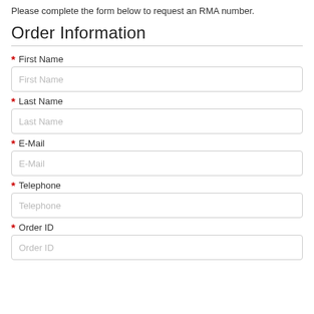Please complete the form below to request an RMA number.
Order Information
* First Name
First Name
* Last Name
Last Name
* E-Mail
E-Mail
* Telephone
Telephone
* Order ID
Order ID